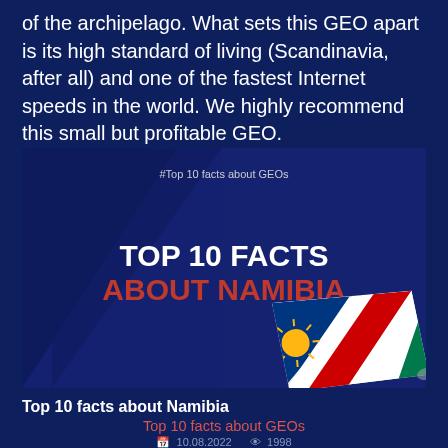Many of you have not even heard of the archipelago. What sets this GEO apart is its high standard of living (Scandinavia, after all) and one of the fastest Internet speeds in the world. We highly recommend this small but profitable GEO.
[Figure (infographic): Dark blue infographic card with diagonal ray pattern, hashtag '#Top 10 facts about GEOs' at top, main bold white text 'TOP 10 FACTS' and red text 'ABOUT NAMIBIA', and a curled Namibia flag in bottom right corner.]
Top 10 facts about Namibia
Top 10 facts about GEOs
10.08.2022   1998